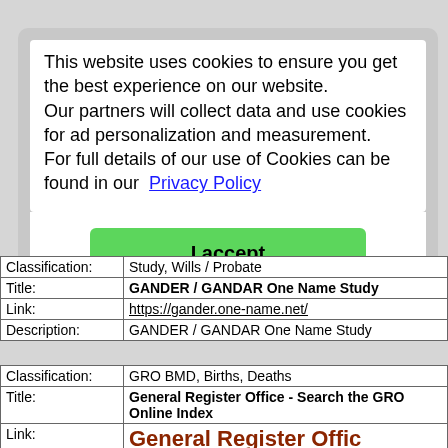This website uses cookies to ensure you get the best experience on our website.
Our partners will collect data and use cookies for ad personalization and measurement.
For full details of our use of Cookies can be found in our Privacy Policy
I accept
| Classification: | One Name Study, Wills / Probate |
| Title: | GANDER / GANDAR One Name Study |
| Link: | https://gander.one-name.net/ |
| Description: | GANDER / GANDAR One Name Study |
| Classification: | GRO BMD, Births, Deaths |
| Title: | General Register Office - Search the GRO Online Index |
| Link: | General Register Offic… |